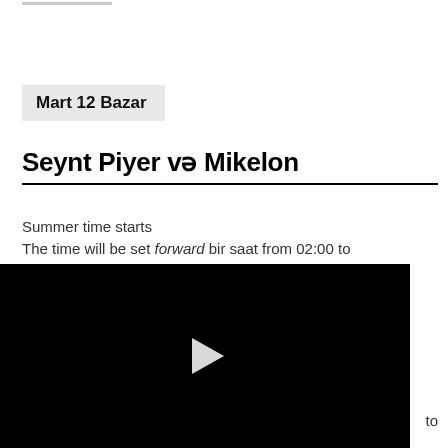Mart 12 Bazar
Seynt Piyer və Mikelon
Summer time starts
The time will be set forward bir saat from 02:00 to
[Figure (screenshot): Black video player with white play button triangle in center]
to